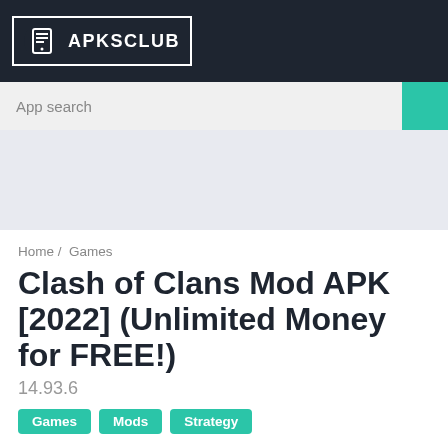APKSCLUB
App search
[Figure (other): Gray advertisement placeholder area]
Home / Games
Clash of Clans Mod APK [2022] (Unlimited Money for FREE!)
14.93.6
Games
Mods
Strategy
Today we are giving you free mod APK of this game with unlock